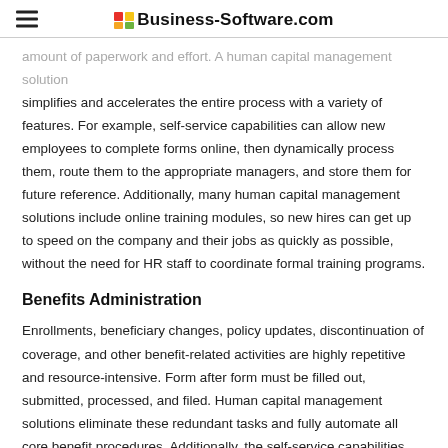Business-Software.com
amount of paperwork and effort. A human capital management solution simplifies and accelerates the entire process with a variety of features. For example, self-service capabilities can allow new employees to complete forms online, then dynamically process them, route them to the appropriate managers, and store them for future reference. Additionally, many human capital management solutions include online training modules, so new hires can get up to speed on the company and their jobs as quickly as possible, without the need for HR staff to coordinate formal training programs.
Benefits Administration
Enrollments, beneficiary changes, policy updates, discontinuation of coverage, and other benefit-related activities are highly repetitive and resource-intensive. Form after form must be filled out, submitted, processed, and filed. Human capital management solutions eliminate these redundant tasks and fully automate all core benefit procedures. Additionally, the self-service capabilities within many human capital management packages minimize the number of benefit-related